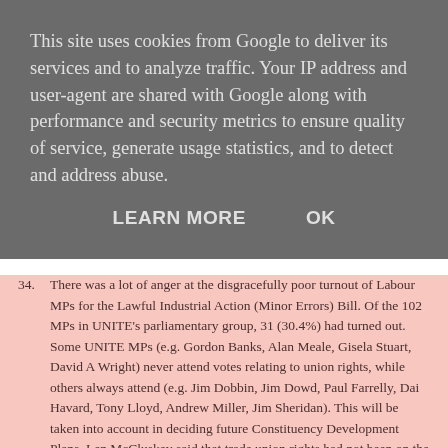This site uses cookies from Google to deliver its services and to analyze traffic. Your IP address and user-agent are shared with Google along with performance and security metrics to ensure quality of service, generate usage statistics, and to detect and address abuse.
LEARN MORE    OK
34. There was a lot of anger at the disgracefully poor turnout of Labour MPs for the Lawful Industrial Action (Minor Errors) Bill. Of the 102 MPs in UNITE's parliamentary group, 31 (30.4%) had turned out. Some UNITE MPs (e.g. Gordon Banks, Alan Meale, Gisela Stuart, David A Wright) never attend votes relating to union rights, while others always attend (e.g. Jim Dobbin, Jim Dowd, Paul Farrelly, Dai Havard, Tony Lloyd, Andrew Miller, Jim Sheridan). This will be taken into account in deciding future Constituency Development Plans. Len McCluskey said that trade union rights had not been on the New Labour agenda, though he hoped Ed Milliband would change this. He noted that Labour councils were sacking UNITE convenors and argued that Labour only has the right to exist if it represents working people and unions in parliament.